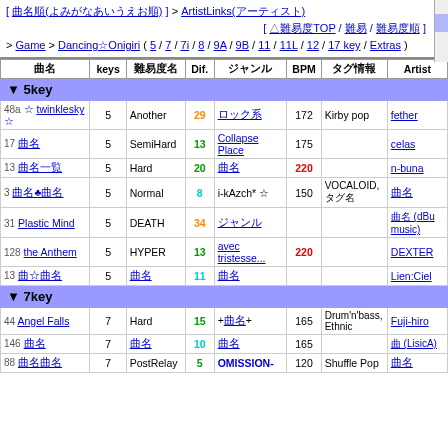[ 曲名順(よみがなあいうえお順) ] > ArtistLinks(アーティスト) [ △難易度TOP / 難易 / 難易度順 ] > Game > Dancing☆Onigiri ( 5 / 7 / 7i / 8 / 9A / 9B / 11 / 11L / 12 / 17 key / Extras )
| 曲名 | keys | 難易度名 | Dif. | ジャンル | BPM | タグ情報 | Artist |
| --- | --- | --- | --- | --- | --- | --- | --- |
| ▼ 5key |  |  |  |  |  |  |  |
| 48a ☆ twinklesky ☆ | 5 | Another | 29 | ロック系 | 172 | Kirby pop | fether |
| 17 曲名 | 5 | SemiHard | 13 | Collapse Place | 175 |  | celas |
| 13 曲名一覧 | 5 | Hard | 20 | 曲名 | 220 |  | n-buna |
| 3 曲名♣曲名 | 5 | Normal | 8 | i-kAzch* ☆ | 150 | VOCALOID, タグ名 | 曲名 |
| 31 Plastic Mind | 5 | DEATH | 34 | ジャンル |  |  | 曲名 (dBu music) |
| 128 the Anthem | 5 | HYPER | 13 | avec tristesse... | 220 |  | DEXTER |
| 13 曲☆曲名 | 5 | 曲名 | 11 | 曲名 |  |  | Lien:Ciel |
| ▼ 7key |  |  |  |  |  |  |  |
| 44 Angel Falls | 7 | Hard | 15 | +曲名+ | 165 | Drum'n'bass, Ethnic | Fuji-hiro |
| 146 曲名 | 7 | 曲名 | 10 | 曲名 | 165 |  | 曲 (LisicA) |
| 88 曲名曲名 | 7 | PostRelay | 5 | OMISSION- | 120 | Shuffle Pop | 曲名 |